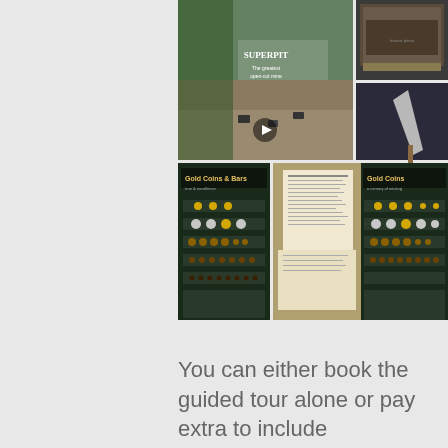[Figure (photo): Collage of photos from a museum or exhibition visit. Top left: a large display board titled 'Superpit' showing an open-cut mine with machinery. Top right: two images showing a framed historical photograph of a group of people, and a trowel/shovel artifact on display. Bottom row: four photos showing museum display cases with gold coins and bars, a document/letter, a text panel about 'Martha for coins', and another display of gold coins titled 'Gold Coins'.]
You can either book the guided tour alone or pay extra to include Devonshire Tea at the Perth Mint